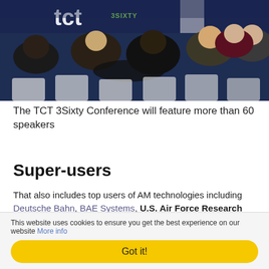[Figure (photo): Audience seated in white chairs at the TCT 3Sixty Conference, viewed from behind, with a dark blue backdrop featuring the TCT logo and '3SIXTY' text visible at the top.]
The TCT 3Sixty Conference will feature more than 60 speakers
Super-users
That also includes top users of AM technologies including Deutsche Bahn, BAE Systems, U.S. Air Force Research Laboratory, to name just a few across two days and two stages. Whether you want to learn how to get started with
This website uses cookies to ensure you get the best experience on our website More info
Got it!